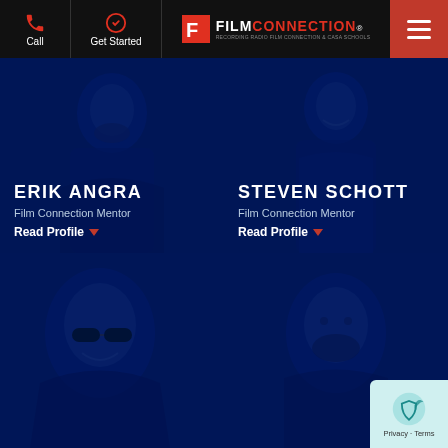Call | Get Started | FILM CONNECTION® | RECORDING RADIO FILM CONNECTION & CASA SCHOOLS
ERIK ANGRA
Film Connection Mentor
Read Profile
STEVEN SCHOTT
Film Connection Mentor
Read Profile
[Figure (photo): Dark blue tinted photo of Erik Angra, Film Connection Mentor]
[Figure (photo): Dark blue tinted photo of Steven Schott, Film Connection Mentor]
[Figure (photo): Dark blue tinted photo of a mentor wearing sunglasses, partially visible at bottom left]
[Figure (photo): Dark blue tinted photo of a mentor, partially visible at bottom right]
Privacy · Terms